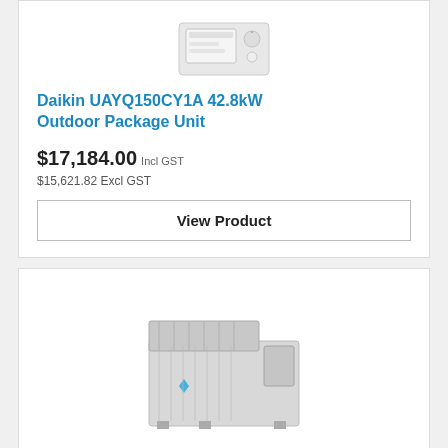[Figure (photo): Thermostat controller device (top of first product card)]
Daikin UAYQ150CY1A 42.8kW Outdoor Package Unit
$17,184.00 Incl GST
$15,621.82 Excl GST
View Product
[Figure (photo): Daikin outdoor package unit HVAC equipment, large rooftop air conditioning unit]
[Figure (logo): Daikin brand logo with blue chevron/wing icon and DAIKIN text in blue]
[Figure (photo): Small thermostat/controller device (bottom of second product card)]